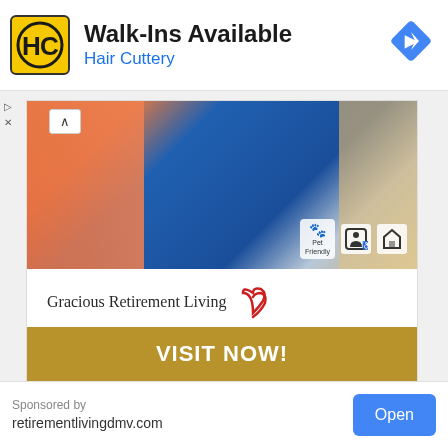[Figure (screenshot): Hair Cuttery ad banner with yellow HC logo, 'Walk-Ins Available' headline, 'Hair Cuttery' subtitle in blue, and blue navigation diamond icon on the right]
[Figure (photo): Gracious Retirement Living advertisement showing a smiling woman in blue shirt with orange curtains background, Pet Friendly badge and accessibility icons. Text reads 'Gracious Retirement Living' with heart logo, 'Come Share Our Enthusiasm.' in italic navy, and gold 'VISIT NOW!' button bar]
Sponsored by
retirementlivingdmv.com